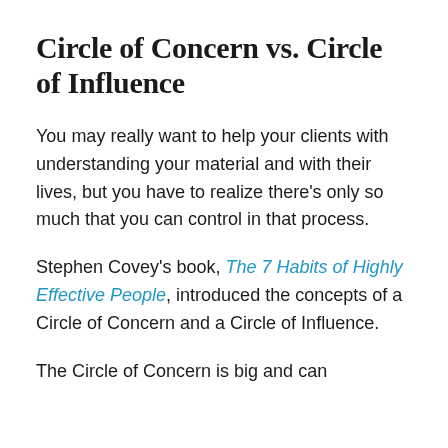Circle of Concern vs. Circle of Influence
You may really want to help your clients with understanding your material and with their lives, but you have to realize there's only so much that you can control in that process.
Stephen Covey's book, The 7 Habits of Highly Effective People, introduced the concepts of a Circle of Concern and a Circle of Influence.
The Circle of Concern is big and can